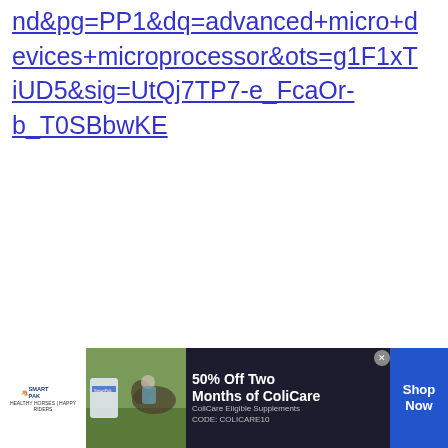nd&pg=PP1&dq=advanced+micro+devices+microprocessor&ots=g1F1xTiUD5&sig=UtQj7TP7-e_FcaOr-b_T0SBbwKE
Subscribe to Ask Any Difference!
Get updates on the latest posts and more from Ask Any Difference straight to your inbox.
Your Email...
[Figure (screenshot): WHAT'S NEXT arrow panel showing 'Difference Between AM...' with a purple/red circular thumbnail]
[Figure (infographic): SmartPak advertisement banner: 50% Off Two Months of ColiCare, ColiCare Eligible Supplements CODE: COLICARE10, Shop Now button, horse and rider image]